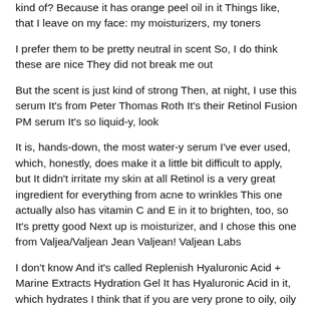kind of? Because it has orange peel oil in it Things like, that I leave on my face: my moisturizers, my toners
I prefer them to be pretty neutral in scent So, I do think these are nice They did not break me out
But the scent is just kind of strong Then, at night, I use this serum It's from Peter Thomas Roth It's their Retinol Fusion PM serum It's so liquid-y, look
It is, hands-down, the most water-y serum I've ever used, which, honestly, does make it a little bit difficult to apply, but It didn't irritate my skin at all Retinol is a very great ingredient for everything from acne to wrinkles This one actually also has vitamin C and E in it to brighten, too, so It's pretty good Next up is moisturizer, and I chose this one from Valjea/Valjean Jean Valjean! Valjean Labs
I don't know And it's called Replenish Hyaluronic Acid + Marine Extracts Hydration Gel It has Hyaluronic Acid in it, which hydrates I think that if you are very prone to oily, oily